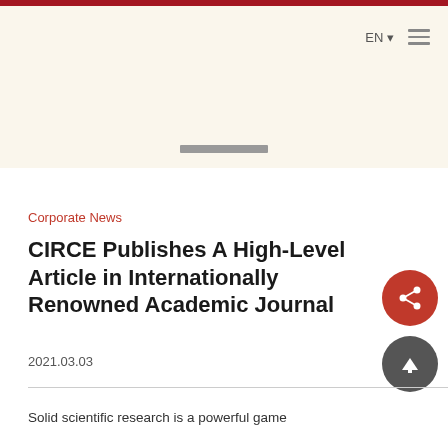EN  ☰
Corporate News
CIRCE Publishes A High-Level Article in Internationally Renowned Academic Journal
2021.03.03
Solid scientific research is a powerful game